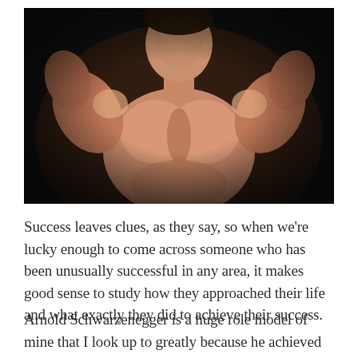[Figure (photo): Black and white / warm-toned photograph of a muscular male bodybuilder (Arnold Schwarzenegger) posing with arms raised, showing biceps and chest muscles, dark background]
Success leaves clues, as they say, so when we're lucky enough to come across someone who has been unusually successful in any area, it makes good sense to study how they approached their life and what exactly they did to achieve their success.
Arnold Schwarzenegger is a huge role model of mine that I look up to greatly because he achieved extraordinary success in multiple areas. He built...